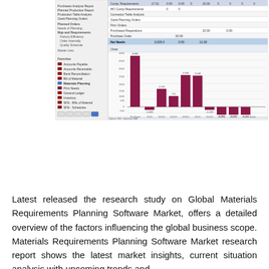[Figure (screenshot): Screenshot of a Materials Requirements Planning software interface showing a navigation panel on the left, a data grid/table at the top, and a bar chart below displaying financial or inventory data across multiple time periods (Pre Period, 1/1/21, 1/15/21, 1/29/21, 2/5/21, 2/12/21, 2/19/21, 2/26/21, 3/5/21, Future Needs). The bars are dark red/maroon in color. Some bars are positive (tall, above axis) and some are negative (below axis). The chart is labeled with small numbers above/below each bar.]
Latest released the research study on Global Materials Requirements Planning Software Market, offers a detailed overview of the factors influencing the global business scope. Materials Requirements Planning Software Market research report shows the latest market insights, current situation analysis with upcoming trends and